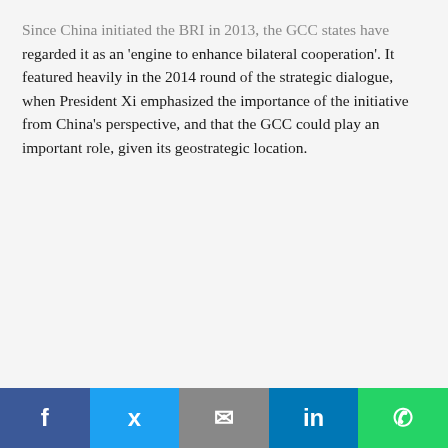Since China initiated the BRI in 2013, the GCC states have regarded it as an 'engine to enhance bilateral cooperation'. It featured heavily in the 2014 round of the strategic dialogue, when President Xi emphasized the importance of the initiative from China's perspective, and that the GCC could play an important role, given its geostrategic location.
[Figure (other): Yellow/cream colored background block, likely placeholder for an image or advertisement]
Social sharing buttons: Facebook, Twitter, Email, LinkedIn, WhatsApp